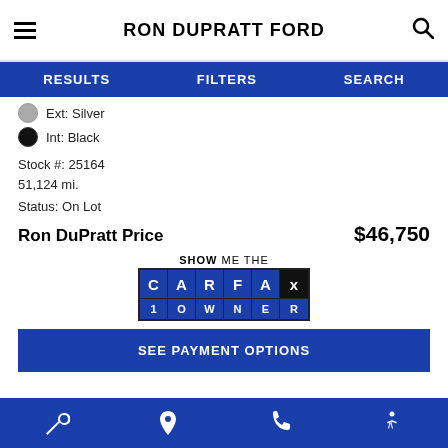RON DUPRATT FORD
RESULTS   FILTERS   SEARCH
Ext: Silver
Int: Black
Stock #: 25164
51,124 mi.
Status: On Lot
Ron DuPratt Price    $46,750
[Figure (logo): SHOW ME THE CARFAX 1 OWNER badge/logo]
SEE PAYMENT OPTIONS
Wrench icon, Location pin icon, Phone icon, Accessibility icon